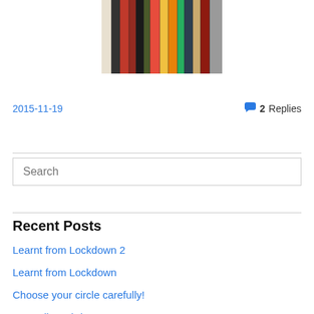[Figure (photo): Photo of books standing upright on a shelf, showing their spines with various colors including red, yellow, and orange.]
2015-11-19
2 Replies
Search
Recent Posts
Learnt from Lockdown 2
Learnt from Lockdown
Choose your circle carefully!
Spreading Christmas Love…